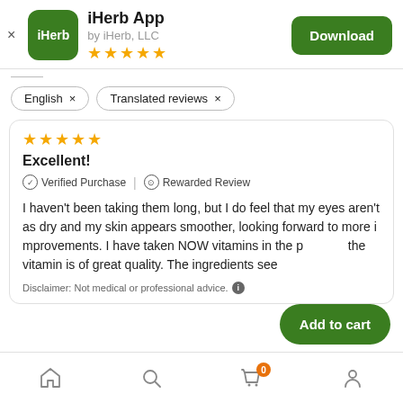[Figure (screenshot): iHerb app icon — green rounded square with white iHerb text]
iHerb App
by iHerb, LLC
[Figure (other): 5 gold star rating icons]
[Figure (other): Download button — green rounded rectangle]
English ×
Translated reviews ×
[Figure (other): 5 gold star icons for review]
Excellent!
✓ Verified Purchase  |  ⊙ Rewarded Review
I haven't been taking them long, but I do feel that my eyes aren't as dry and my skin appears smoother, looking forward to more improvements. I have taken NOW vitamins in the p the vitamin is of great quality. The ingredients see
Disclaimer: Not medical or professional advice. ℹ
[Figure (other): Add to cart button — green pill-shaped button]
[Figure (other): Bottom navigation bar with home, search, cart (badge 0), and profile icons]